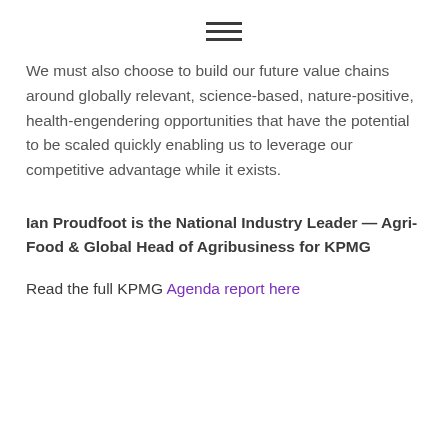[Figure (other): Hamburger menu icon with three horizontal lines]
We must also choose to build our future value chains around globally relevant, science-based, nature-positive, health-engendering opportunities that have the potential to be scaled quickly enabling us to leverage our competitive advantage while it exists.
Ian Proudfoot is the National Industry Leader — Agri-Food & Global Head of Agribusiness for KPMG
Read the full KPMG Agenda report here